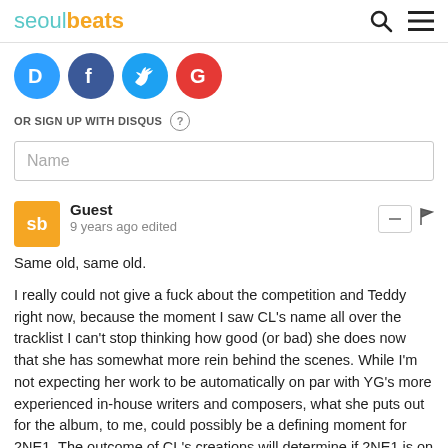seoulbeats
[Figure (illustration): Social login icons: Disqus (blue), Facebook (dark blue), Twitter (light blue), Google (red)]
OR SIGN UP WITH DISQUS ?
Name
Guest
9 years ago edited
Same old, same old.

I really could not give a fuck about the competition and Teddy right now, because the moment I saw CL's name all over the tracklist I can't stop thinking how good (or bad) she does now that she has somewhat more rein behind the scenes. While I'm not expecting her work to be automatically on par with YG's more experienced in-house writers and composers, what she puts out for the album, to me, could possibly be a defining moment for 2NE1. The outcome of CL's creations will determine if 2NE1 is on the way to becoming self-sufficient as